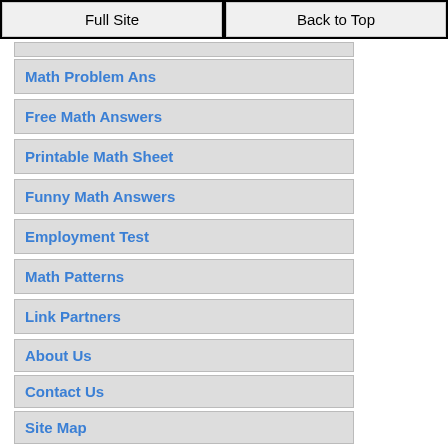Full Site | Back to Top
Math Problem Ans
Free Math Answers
Printable Math Sheet
Funny Math Answers
Employment Test
Math Patterns
Link Partners
About Us
Contact Us
Site Map
[?] Subscribe To This Site
[Figure (other): RSS subscription button with orange background and RSS icon]
E-mail Address
First Name